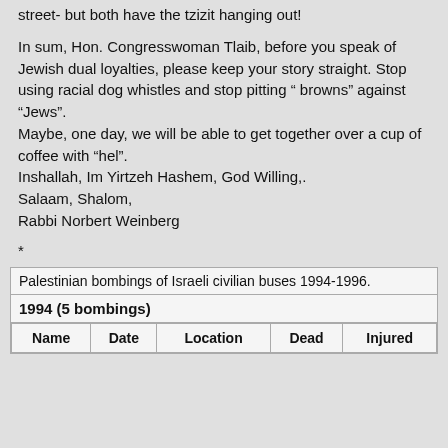street- but both have the tzizit hanging out!
In sum, Hon. Congresswoman Tlaib, before you speak of Jewish dual loyalties, please keep your story straight. Stop using racial dog whistles and stop pitting “ browns” against “Jews”.
Maybe, one day, we will be able to get together over a cup of coffee with “hel”.
Inshallah, Im Yirtzeh Hashem, God Willing,.
Salaam, Shalom,
Rabbi Norbert Weinberg
*
Palestinian bombings of Israeli civilian buses 1994-1996.
| Name | Date | Location | Dead | Injured |
| --- | --- | --- | --- | --- |